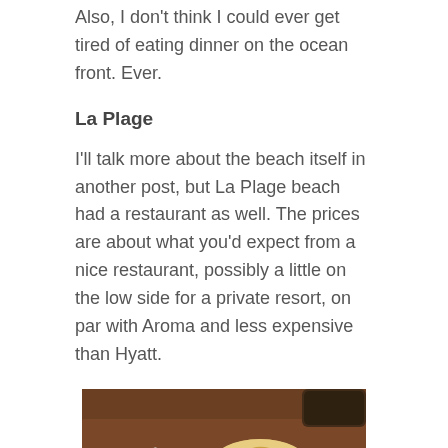Also, I don't think I could ever get tired of eating dinner on the ocean front. Ever.
La Plage
I'll talk more about the beach itself in another post, but La Plage beach had a restaurant as well. The prices are about what you'd expect from a nice restaurant, possibly a little on the low side for a private resort, on par with Aroma and less expensive than Hyatt.
[Figure (photo): A table set with dishes of food including salads, vegetables, bread in a basket, at what appears to be a restaurant. Items visible include sliced carrots, green beans, and other dishes on white plates on a dark wooden table.]